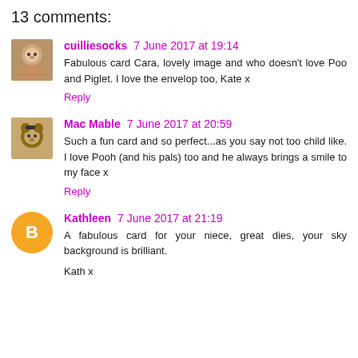13 comments:
cuilliesocks 7 June 2017 at 19:14
Fabulous card Cara, lovely image and who doesn't love Poo and Piglet. I love the envelop too, Kate x
Reply
Mac Mable 7 June 2017 at 20:59
Such a fun card and so perfect...as you say not too child like. I love Pooh (and his pals) too and he always brings a smile to my face x
Reply
Kathleen 7 June 2017 at 21:19
A fabulous card for your niece, great dies, your sky background is brilliant.
Kath x